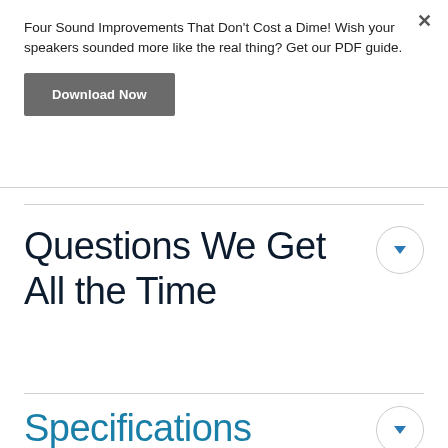Four Sound Improvements That Don't Cost a Dime! Wish your speakers sounded more like the real thing? Get our PDF guide.
Download Now
Questions We Get All the Time
Specifications